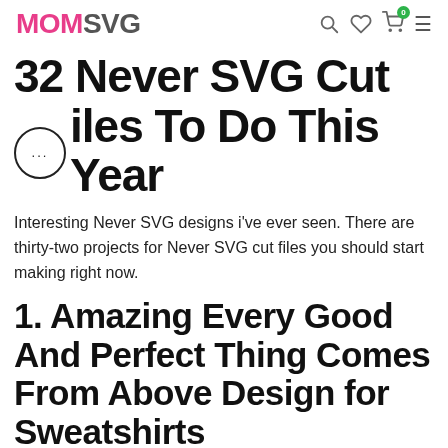MOMSVG
32 Never SVG Cut Files To Do This Year
Interesting Never SVG designs i've ever seen. There are thirty-two projects for Never SVG cut files you should start making right now.
1. Amazing Every Good And Perfect Thing Comes From Above Design for Sweatshirts